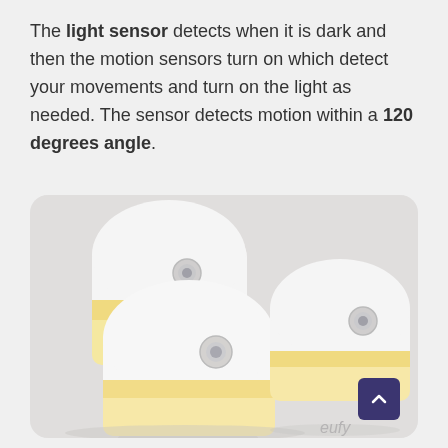The light sensor detects when it is dark and then the motion sensors turn on which detect your movements and turn on the light as needed. The sensor detects motion within a 120 degrees angle.
[Figure (photo): Three white Eufy motion-sensor night lights with warm yellow glowing panels and circular motion sensor lenses on the front, arranged in a cluster against a light grey background. The Eufy logo is visible on the rightmost unit.]